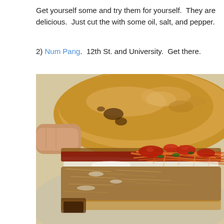Get yourself some and try them for yourself.  They are delicious.  Just cut the with some oil, salt, and pepper.
2) Num Pang.  12th St. and University.  Get there.
[Figure (photo): Close-up photo of a sandwich (Num Pang) being held, showing a toasted roll with shredded meat, pickled carrots, cilantro, and sauce filling.]